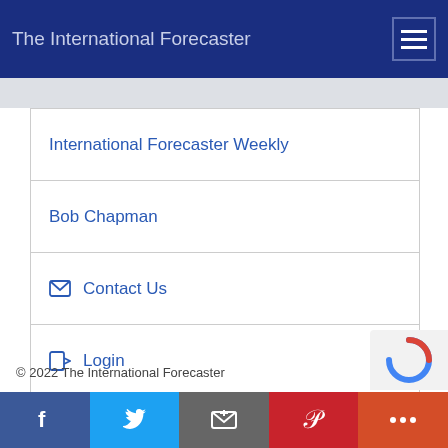The International Forecaster
International Forecaster Weekly
Bob Chapman
Contact Us
Login
Free Sample Issue
Subscribe
© 2022 The International Forecaster